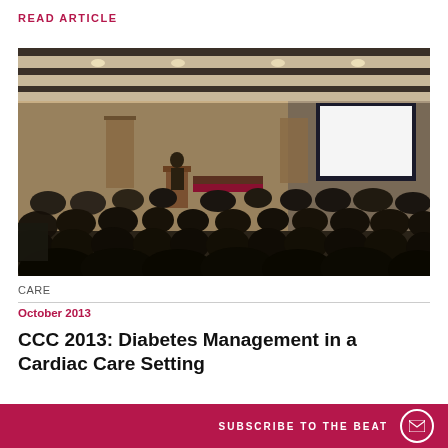READ ARTICLE
[Figure (photo): Conference hall photo showing a speaker at a podium with a large projection screen displaying white, and an audience of hundreds of attendees seated in a darkened room.]
CARE
October 2013
CCC 2013: Diabetes Management in a Cardiac Care Setting
SUBSCRIBE TO THE BEAT